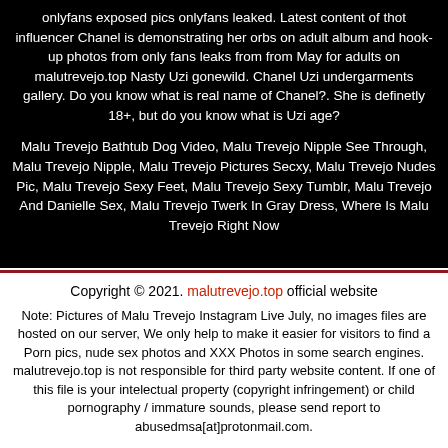onlyfans exposed pics onlyfans leaked. Latest content of thot influencer Chanel is demonstrating her orbs on adult album and hook-up photos from only fans leaks from from May for adults on malutrevejo.top Nasty Uzi gonewild. Chanel Uzi undergarments gallery. Do you know what is real name of Chanel?. She is definetly 18+, but do you know what is Uzi age?
Malu Trevejo Bathtub Dog Video, Malu Trevejo Nipple See Through, Malu Trevejo Nipple, Malu Trevejo Pictures Secxy, Malu Trevejo Nudes Pic, Malu Trevejo Sexy Feet, Malu Trevejo Sexy Tumblr, Malu Trevejo And Danielle Sex, Malu Trevejo Twerk In Gray Dress, Where Is Malu Trevejo Right Now
Copyright © 2021. malutrevejo.top official website
Note: Pictures of Malu Trevejo Instagram Live July, no images files are hosted on our server, We only help to make it easier for visitors to find a Porn pics, nude sex photos and XXX Photos in some search engines. malutrevejo.top is not responsible for third party website content. If one of this file is your intelectual property (copyright infringement) or child pornography / immature sounds, please send report to abusedmsa[at]protonmail.com.